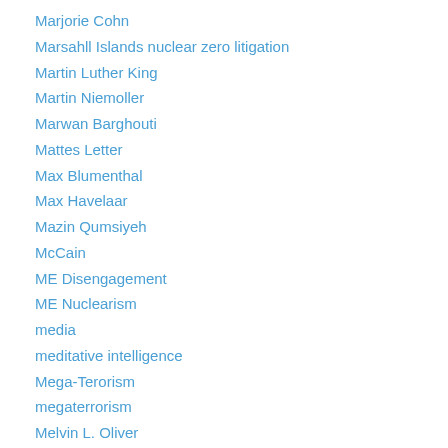Marjorie Cohn
Marsahll Islands nuclear zero litigation
Martin Luther King
Martin Niemoller
Marwan Barghouti
Mattes Letter
Max Blumenthal
Max Havelaar
Mazin Qumsiyeh
McCain
ME Disengagement
ME Nuclearism
media
meditative intelligence
Mega-Terorism
megaterrorism
Melvin L. Oliver
memoir
Memories
Mendlovitz